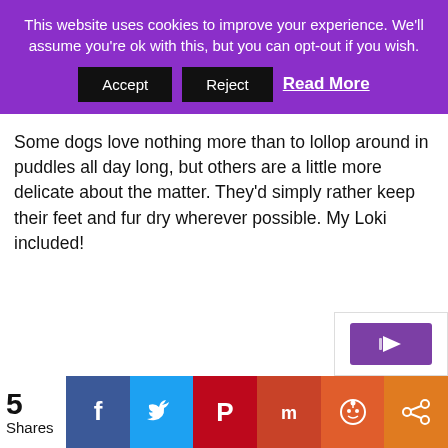This website uses cookies to improve your experience. We'll assume you're ok with this, but you can opt-out if you wish.
Accept | Reject | Read More
Some dogs love nothing more than to lollop around in puddles all day long, but others are a little more delicate about the matter. They'd simply rather keep their feet and fur dry wherever possible. My Loki included!
5 Shares | Facebook | Twitter | Pinterest | Mix | Reddit | Share